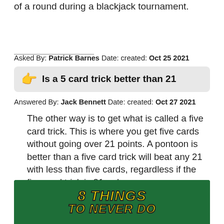of a round during a blackjack tournament.
Asked By: Patrick Barnes Date: created: Oct 25 2021
Is a 5 card trick better than 21
Answered By: Jack Bennett Date: created: Oct 27 2021
The other way is to get what is called a five card trick. This is where you get five cards without going over 21 points. A pontoon is better than a five card trick will beat any 21 with less than five cards, regardless if the five card trick is 21 or less.
[Figure (photo): Blackjack table with cards, showing bold yellow text '8 THINGS TO NEVER DO' on a green casino felt background]